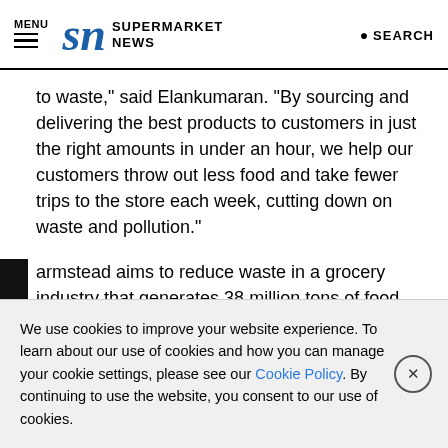MENU | SN SUPERMARKET NEWS | SEARCH
to waste," said Elankumaran. "By sourcing and delivering the best products to customers in just the right amounts in under an hour, we help our customers throw out less food and take fewer trips to the store each week, cutting down on waste and pollution."
Farmstead aims to reduce waste in a grocery industry that generates 38 million tons of food waste each year and sees one in seven truckloads of perishable food items delivered to stores
We use cookies to improve your website experience. To learn about our use of cookies and how you can manage your cookie settings, please see our Cookie Policy. By continuing to use the website, you consent to our use of cookies.